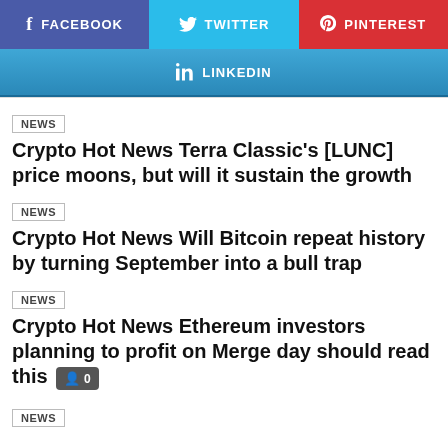[Figure (infographic): Social share buttons: Facebook (blue-purple), Twitter (cyan), Pinterest (red), LinkedIn (blue gradient)]
NEWS
Crypto Hot News Terra Classic's [LUNC] price moons, but will it sustain the growth
NEWS
Crypto Hot News Will Bitcoin repeat history by turning September into a bull trap
NEWS
Crypto Hot News Ethereum investors planning to profit on Merge day should read this
NEWS